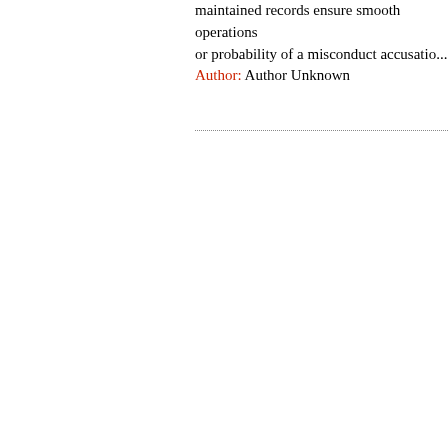maintained records ensure smooth operations or probability of a misconduct accusatio... Author: Author Unknown